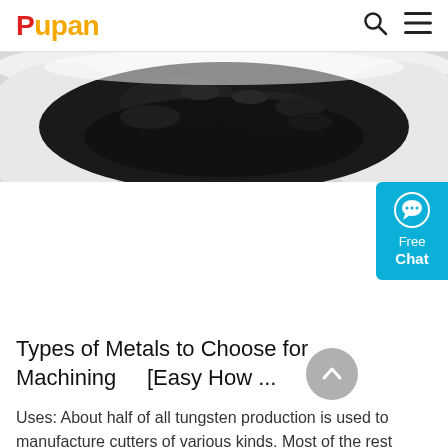Pupan
[Figure (photo): Dark powdery material (tungsten powder) in a white bowl/dish, photograph taken from above]
[Figure (other): Free Chat button widget with chat bubble icon in cyan/blue color]
Types of Metals to Choose for Machining [Easy How ...
Uses: About half of all tungsten production is used to manufacture cutters of various kinds. Most of the rest involves